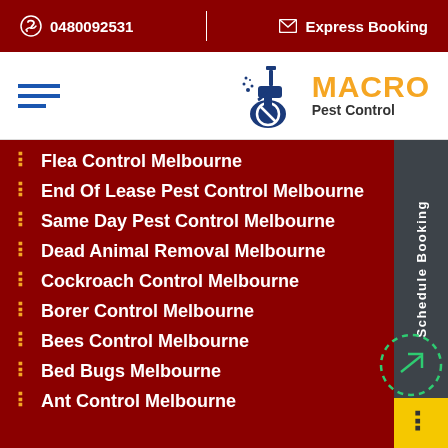0480092531 | Express Booking
[Figure (logo): Macro Pest Control logo with spray bottle icon, MACRO in yellow and Pest Control in dark text]
Flea Control Melbourne
End Of Lease Pest Control Melbourne
Same Day Pest Control Melbourne
Dead Animal Removal Melbourne
Cockroach Control Melbourne
Borer Control Melbourne
Bees Control Melbourne
Bed Bugs Melbourne
Ant Control Melbourne